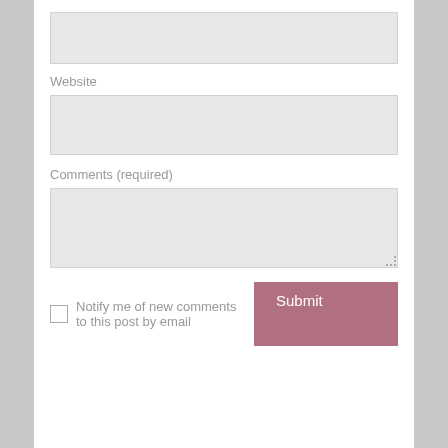[Figure (screenshot): Partially visible text input field at the top of the page (email or name field cut off)]
Website
[Figure (screenshot): Website URL input field]
Comments (required)
[Figure (screenshot): Comments textarea field with resize handle]
Notify me of new comments to this post by email
[Figure (screenshot): Submit button in mauve/pink color]
Rita OWEN
I have been through a lot in my life just as everyone else; I have found strength...